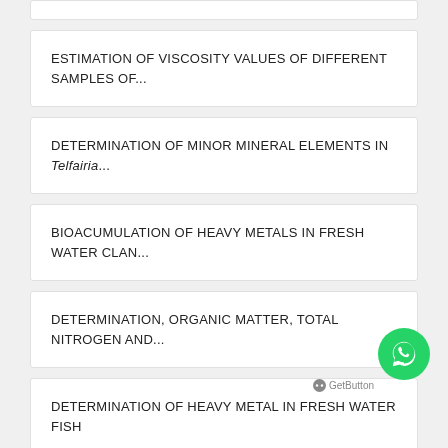ESTIMATION OF VISCOSITY VALUES OF DIFFERENT SAMPLES OF...
DETERMINATION OF MINOR MINERAL ELEMENTS IN Telfairia...
BIOACUMULATION OF HEAVY METALS IN FRESH WATER CLAN...
DETERMINATION, ORGANIC MATTER, TOTAL NITROGEN AND...
DETERMINATION OF HEAVY METAL IN FRESH WATER FISH
ESTIMATION OF MINERAL CONTENTS OF MANGO FRUITS